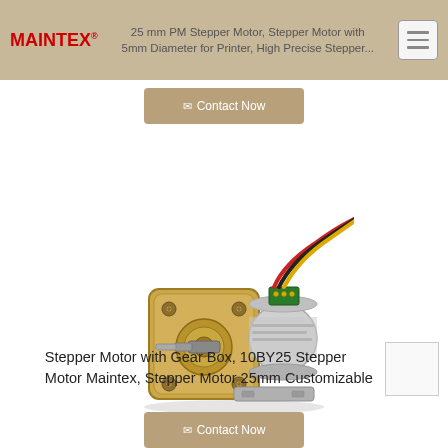25 mm PM Stepper Motor, Stepper Motor with 5mm Diameter for Printer, High Precise Stepper...
[Figure (photo): A small gearbox stepper motor (10BY25) with brass-colored gear housing, silver cylindrical motor body, and colored wires (red, black, yellow) with a small green PCB connector attached.]
Stepper Motor with Gear Box, 10BY25 Stepper Motor Maintex, Stepper Motor 25mm Customizable